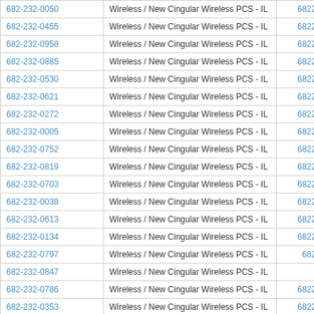| Phone | Carrier | ID |
| --- | --- | --- |
| 682-232-0050 | Wireless / New Cingular Wireless PCS - IL | 6822320050 |
| 682-232-0455 | Wireless / New Cingular Wireless PCS - IL | 6822320455 |
| 682-232-0958 | Wireless / New Cingular Wireless PCS - IL | 6822320958 |
| 682-232-0885 | Wireless / New Cingular Wireless PCS - IL | 6822320885 |
| 682-232-0530 | Wireless / New Cingular Wireless PCS - IL | 6822320530 |
| 682-232-0621 | Wireless / New Cingular Wireless PCS - IL | 6822320621 |
| 682-232-0272 | Wireless / New Cingular Wireless PCS - IL | 6822320272 |
| 682-232-0005 | Wireless / New Cingular Wireless PCS - IL | 6822320005 |
| 682-232-0752 | Wireless / New Cingular Wireless PCS - IL | 6822320752 |
| 682-232-0819 | Wireless / New Cingular Wireless PCS - IL | 6822320819 |
| 682-232-0703 | Wireless / New Cingular Wireless PCS - IL | 6822320703 |
| 682-232-0038 | Wireless / New Cingular Wireless PCS - IL | 6822320038 |
| 682-232-0613 | Wireless / New Cingular Wireless PCS - IL | 6822320613 |
| 682-232-0134 | Wireless / New Cingular Wireless PCS - IL | 6822320134 |
| 682-232-0797 | Wireless / New Cingular Wireless PCS - IL | 6822320797 |
| 682-232-0847 | Wireless / New Cingular Wireless PCS - IL | 6822320847 |
| 682-232-0786 | Wireless / New Cingular Wireless PCS - IL | 6822320786 |
| 682-232-0353 | Wireless / New Cingular Wireless PCS - IL | 6822320353 |